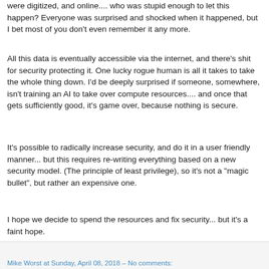were digitized, and online.... who was stupid enough to let this happen? Everyone was surprised and shocked when it happened, but I bet most of you don't even remember it any more.
All this data is eventually accessible via the internet, and there's shit for security protecting it. One lucky rogue human is all it takes to take the whole thing down. I'd be deeply surprised if someone, somewhere, isn't training an AI to take over compute resources.... and once that gets sufficiently good, it's game over, because nothing is secure.
It's possible to radically increase security, and do it in a user friendly manner... but this requires re-writing everything based on a new security model. (The principle of least privilege), so it's not a "magic bullet", but rather an expensive one.
I hope we decide to spend the resources and fix security... but it's a faint hope.
Mike Worst at Sunday, April 08, 2018 – No comments: